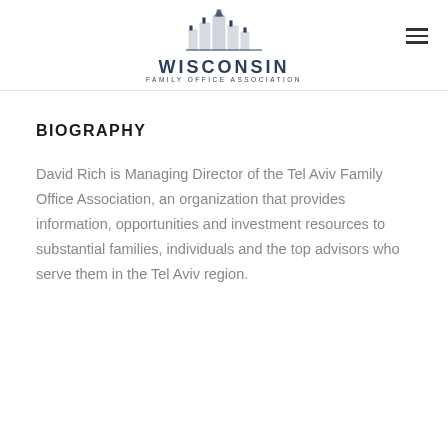[Figure (logo): Wisconsin Family Office Association logo with building skyline illustration above the text WISCONSIN FAMILY OFFICE ASSOCIATION]
BIOGRAPHY
David Rich is Managing Director of the Tel Aviv Family Office Association, an organization that provides information, opportunities and investment resources to substantial families, individuals and the top advisors who serve them in the Tel Aviv region.